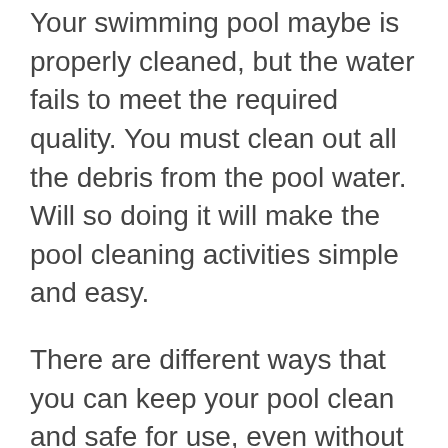Your swimming pool maybe is properly cleaned, but the water fails to meet the required quality. You must clean out all the debris from the pool water. Will so doing it will make the pool cleaning activities simple and easy.
There are different ways that you can keep your pool clean and safe for use, even without professional services. As explained above, depending on the type of your pool, you must exercise these to keep it at its best state.